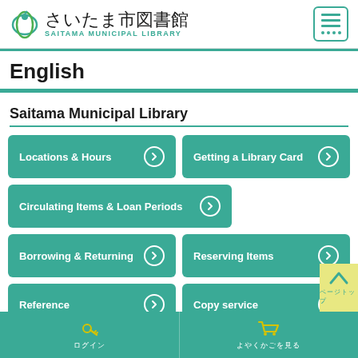さいたま市図書館 Saitama Municipal Library
English
Saitama Municipal Library
Locations & Hours
Getting a Library Card
Circulating Items & Loan Periods
Borrowing & Returning
Reserving Items
Reference
Copy service
ログイン　　よやくかごを見る